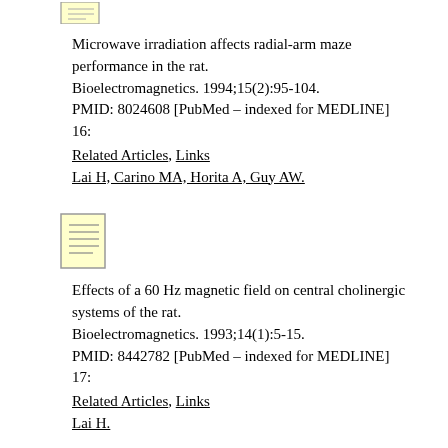[Figure (illustration): Small document/page icon with yellow background, partially visible at top]
Microwave irradiation affects radial-arm maze performance in the rat.
Bioelectromagnetics. 1994;15(2):95-104.
PMID: 8024608 [PubMed – indexed for MEDLINE]
16:
Related Articles, Links
Lai H, Carino MA, Horita A, Guy AW.
[Figure (illustration): Document/page icon with yellow background and horizontal lines representing text]
Effects of a 60 Hz magnetic field on central cholinergic systems of the rat.
Bioelectromagnetics. 1993;14(1):5-15.
PMID: 8442782 [PubMed – indexed for MEDLINE]
17:
Related Articles, Links
Lai H.